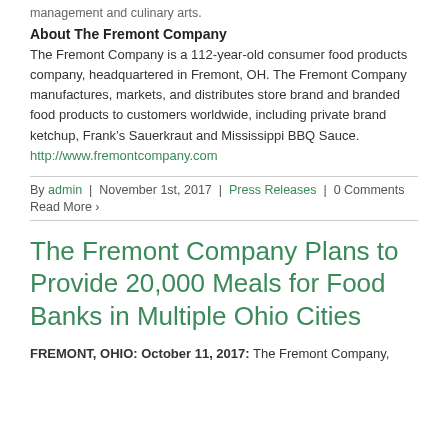management and culinary arts.
About The Fremont Company
The Fremont Company is a 112-year-old consumer food products company, headquartered in Fremont, OH. The Fremont Company manufactures, markets, and distributes store brand and branded food products to customers worldwide, including private brand ketchup, Frank's Sauerkraut and Mississippi BBQ Sauce.
http://www.fremontcompany.com
By admin | November 1st, 2017 | Press Releases | 0 Comments
Read More >
The Fremont Company Plans to Provide 20,000 Meals for Food Banks in Multiple Ohio Cities
FREMONT, OHIO: October 11, 2017: The Fremont Company,